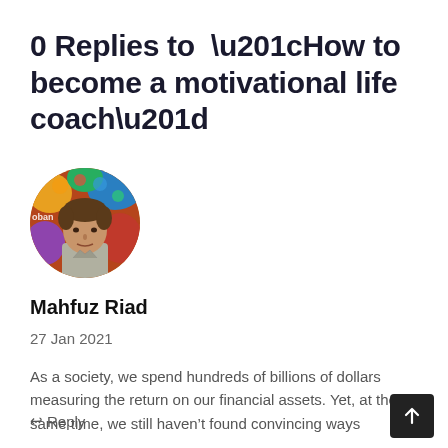0 Replies to “How to become a motivational life coach”
[Figure (photo): Circular avatar photo of Mahfuz Riad, a man in a grey t-shirt in front of a colorful background with text partially visible]
Mahfuz Riad
27 Jan 2021
As a society, we spend hundreds of billions of dollars measuring the return on our financial assets. Yet, at the same time, we still haven’t found convincing ways
↩ Reply